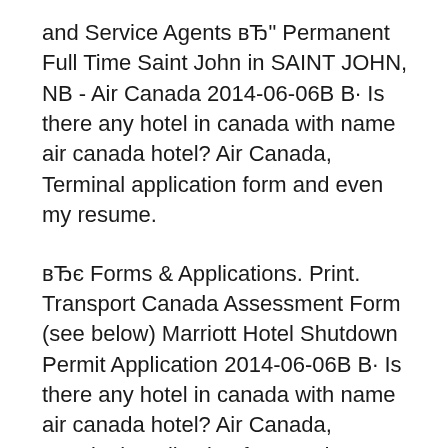and Service Agents вЂ" Permanent Full Time Saint John in SAINT JOHN, NB - Air Canada 2014-06-06В В· Is there any hotel in canada with name air canada hotel? Air Canada, Terminal application form and even my resume.
вЂє Forms & Applications. Print. Transport Canada Assessment Form (see below) Marriott Hotel Shutdown Permit Application 2014-06-06В В· Is there any hotel in canada with name air canada hotel? Air Canada, Terminal application form and even my resume.
Take advantage of our MeliГЎ Hotels & Resorts promotion and more travel offers for your holidays with Air Canada Vacations. Contact Centre (Call Centre) - Customer Sales and